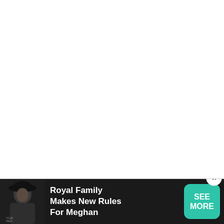[Figure (screenshot): Advertisement banner at the bottom of a webpage. Shows a photo of a woman wearing a black hat on the left, text 'Royal Family Makes New Rules For Meghan' in white bold font on dark background in the center, a teal/green 'SEE MORE' button on the right, and a close (X) button in a white circle.]